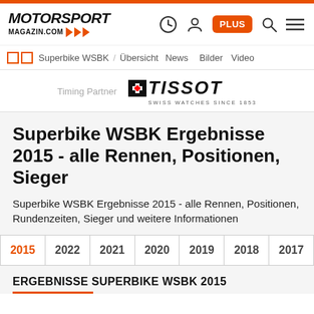MOTORSPORT MAGAZIN.COM
Superbike WSBK / Übersicht News Bilder Video
[Figure (logo): Tissot Swiss Watches Since 1853 logo with Timing Partner label]
Superbike WSBK Ergebnisse 2015 - alle Rennen, Positionen, Sieger
Superbike WSBK Ergebnisse 2015 - alle Rennen, Positionen, Rundenzeiten, Sieger und weitere Informationen
2015
2022
2021
2020
2019
2018
2017
ERGEBNISSE SUPERBIKE WSBK 2015